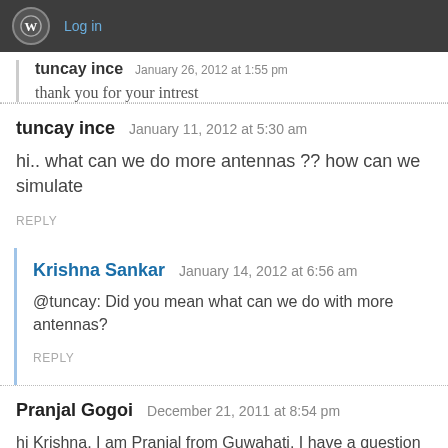WordPress | Log in
tuncay ince   January 26, 2012 at 1:55 pm
thank you for your intrest
tuncay ince   January 11, 2012 at 5:30 am
hi.. what can we do more antennas ?? how can we simulate
REPLY
Krishna Sankar   January 14, 2012 at 6:56 am
@tuncay: Did you mean what can we do with more antennas?
REPLY
Pranjal Gogoi   December 21, 2011 at 8:54 pm
hi Krishna, I am Pranjal from Guwahati. I have a question for you' in MR use DPLL(digital phase lock loop) before decision ckt